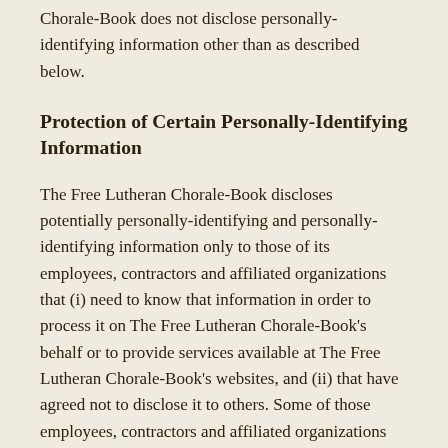Chorale-Book does not disclose personally-identifying information other than as described below.
Protection of Certain Personally-Identifying Information
The Free Lutheran Chorale-Book discloses potentially personally-identifying and personally-identifying information only to those of its employees, contractors and affiliated organizations that (i) need to know that information in order to process it on The Free Lutheran Chorale-Book's behalf or to provide services available at The Free Lutheran Chorale-Book's websites, and (ii) that have agreed not to disclose it to others. Some of those employees, contractors and affiliated organizations may be located outside of your home country; by using The Free Lutheran Chorale-Book's websites, you consent to the transfer of such information to them. The Free Lutheran Chorale-Book will not rent or sell potentially personally-